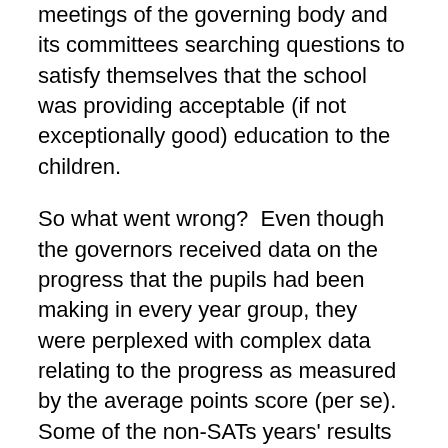meetings of the governing body and its committees searching questions to satisfy themselves that the school was providing acceptable (if not exceptionally good) education to the children.
So what went wrong?  Even though the governors received data on the progress that the pupils had been making in every year group, they were perplexed with complex data relating to the progress as measured by the average points score (per se).   Some of the non-SATs years' results were not as good as they should have been.  The governors were not particularly worried.  Children make progress at different rates at different times in their lives but at Inner City Primary School they came out “all right in the wash”.
However, the inspectors noticed this weakness and prior